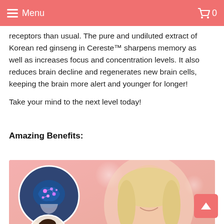Menu   0
receptors than usual. The pure and undiluted extract of Korean red ginseng in Cereste™ sharpens memory as well as increases focus and concentration levels. It also reduces brain decline and regenerates new brain cells, keeping the brain more alert and younger for longer!
Take your mind to the next level today!
Amazing Benefits:
[Figure (photo): A woman with blonde hair smiling, alongside circular inset images of a glowing brain illustration and a woman thinking, on a pink bokeh background.]